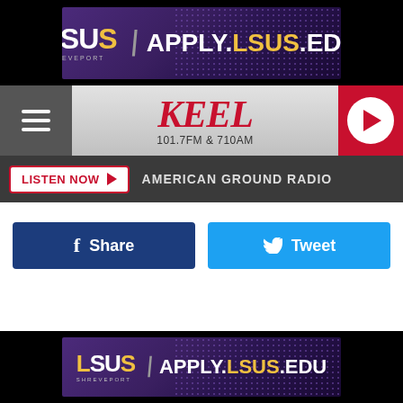[Figure (screenshot): LSUS Shreveport advertisement banner: purple/dark background with dots pattern, LSUS logo in gold/white and APPLY.LSUS.EDU text]
[Figure (screenshot): KEEL 101.7FM & 710AM radio station navigation bar with hamburger menu, logo, and red play button]
[Figure (screenshot): Listen Now button bar with text AMERICAN GROUND RADIO on dark background]
[Figure (screenshot): Social share buttons: blue Facebook Share button and cyan Twitter Tweet button]
[Figure (screenshot): LSUS Shreveport advertisement banner at bottom: APPLY.LSUS.EDU on purple dotted background]